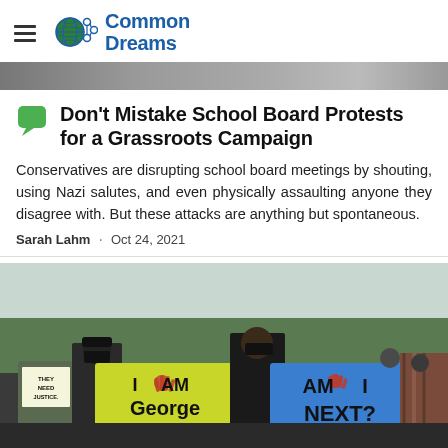Common Dreams
[Figure (photo): Cropped top edge of a protest or outdoor photo, partially visible]
Don't Mistake School Board Protests for a Grassroots Campaign
Conservatives are disrupting school board meetings by shouting, using Nazi salutes, and even physically assaulting anyone they disagree with. But these attacks are anything but spontaneous.
Sarah Lahm · Oct 24, 2021
[Figure (photo): Protest photo showing people holding signs: 'THEY NEED JUSTICE', 'I AM George FLOYD' (yellow sign), 'AM I NEXT?' (blue sign), at an outdoor demonstration, people wearing masks]